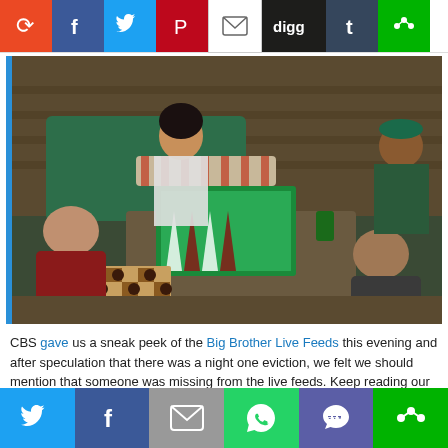[Figure (other): Top social sharing buttons bar: stumble, facebook, twitter, pinterest, email, digg, tumblr, more]
[Figure (photo): Big Brother houseguests sitting around a table playing backgammon and checkers in the Big Brother house]
CBS gave us a sneak peek of the Big Brother Live Feeds this evening and after speculation that there was a night one eviction, we felt we should mention that someone was missing from the live feeds. Keep reading our Big Brother 21 spoilers if you want to know who might have been evicted from the Big Brother house already!
[Figure (other): Bottom social sharing buttons bar: twitter, facebook, email, whatsapp, sms, more]